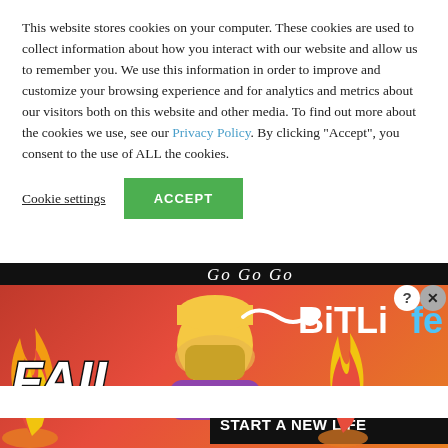This website stores cookies on your computer. These cookies are used to collect information about how you interact with our website and allow us to remember you. We use this information in order to improve and customize your browsing experience and for analytics and metrics about our visitors both on this website and other media. To find out more about the cookies we use, see our Privacy Policy. By clicking "Accept", you consent to the use of ALL the cookies.
Cookie settings
ACCEPT
Submit
[Figure (screenshot): BitLife advertisement banner showing 'FAIL' text with animated character facepalming, flames, and 'START A NEW LIFE' text with BitLife logo and close/help buttons]